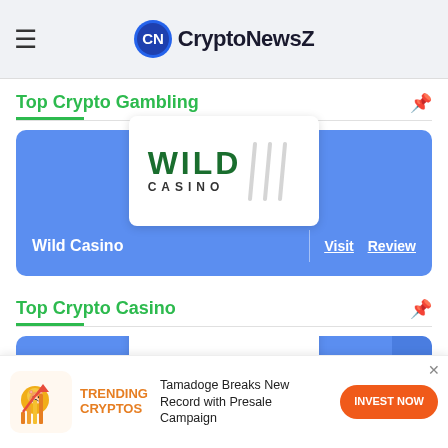CryptoNewsZ
Top Crypto Gambling
[Figure (logo): Wild Casino logo — bold green WILD text with CASINO below, decorative slant lines on right]
Wild Casino  Visit  Review
Top Crypto Casino
[Figure (screenshot): CryptoSlots casino logo partially visible]
TRENDING CRYPTOS  Tamadoge Breaks New Record with Presale Campaign  INVEST NOW